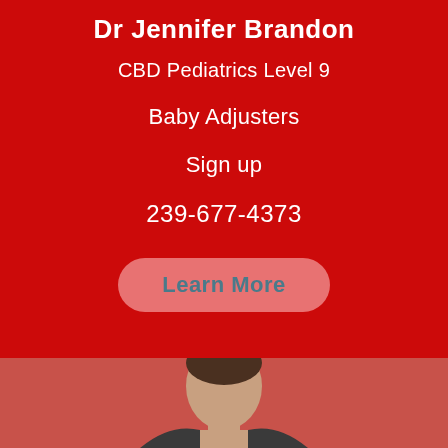Dr Jennifer Brandon
CBD Pediatrics Level 9
Baby Adjusters
Sign up
239-677-4373
Learn More
[Figure (photo): Bottom portion showing a person (doctor) from shoulders up, photographed against a muted red/salmon background. Only the top of the head and part of the shoulders are visible in this cropped view.]